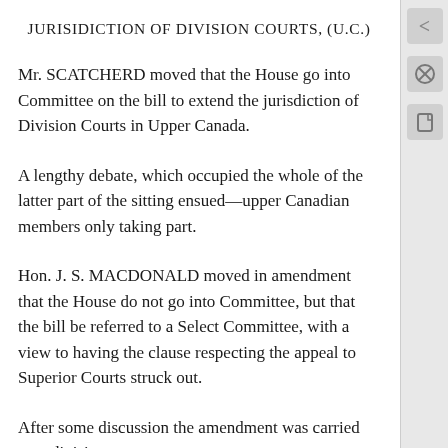JURISIDICTION OF DIVISION COURTS, (U.C.)
Mr. SCATCHERD moved that the House go into Committee on the bill to extend the jurisdiction of Division Courts in Upper Canada.
A lengthy debate, which occupied the whole of the latter part of the sitting ensued—upper Canadian members only taking part.
Hon. J. S. MACDONALD moved in amendment that the House do not go into Committee, but that the bill be referred to a Select Committee, with a view to having the clause respecting the appeal to Superior Courts struck out.
After some discussion the amendment was carried on a division.